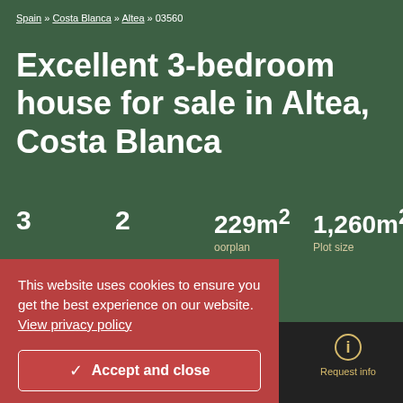Spain » Costa Blanca » Altea » 03560
Excellent 3-bedroom house for sale in Altea, Costa Blanca
3   2   229m²   1,260m²   oorplan   Plot size
This website uses cookies to ensure you get the best experience on our website. View privacy policy
✓ Accept and close
Call us   WhatsApp   Request call   Request info